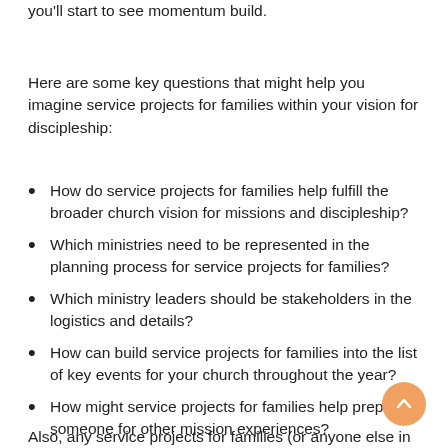you'll start to see momentum build.
Here are some key questions that might help you imagine service projects for families within your vision for discipleship:
How do service projects for families help fulfill the broader church vision for missions and discipleship?
Which ministries need to be represented in the planning process for service projects for families?
Which ministry leaders should be stakeholders in the logistics and details?
How can build service projects for families into the list of key events for your church throughout the year?
How might service projects for families help prepare someone for other mission experiences?
Also, any service projects for families (or anyone else in